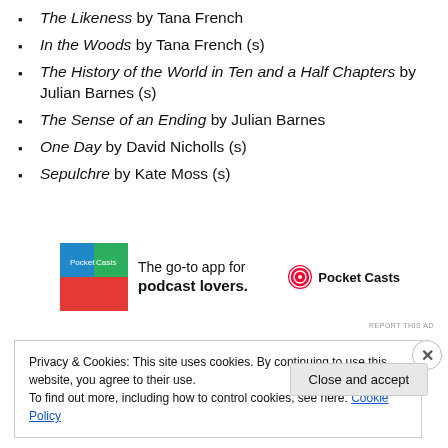The Likeness by Tana French
In the Woods by Tana French (s)
The History of the World in Ten and a Half Chapters by Julian Barnes (s)
The Sense of an Ending by Julian Barnes
One Day by David Nicholls (s)
Sepulchre by Kate Moss (s)
[Figure (other): Pocket Casts advertisement: The go-to app for podcast lovers.]
REPORT THIS AD
Privacy & Cookies: This site uses cookies. By continuing to use this website, you agree to their use.
To find out more, including how to control cookies, see here: Cookie Policy
Close and accept